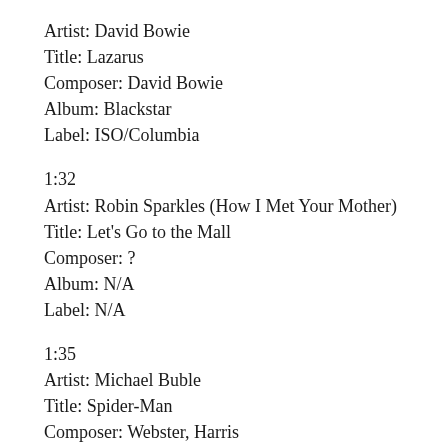Artist: David Bowie
Title: Lazarus
Composer: David Bowie
Album: Blackstar
Label: ISO/Columbia
1:32
Artist: Robin Sparkles (How I Met Your Mother)
Title: Let's Go to the Mall
Composer: ?
Album: N/A
Label: N/A
1:35
Artist: Michael Buble
Title: Spider-Man
Composer: Webster, Harris
Album: (Single)
Label: Reprise